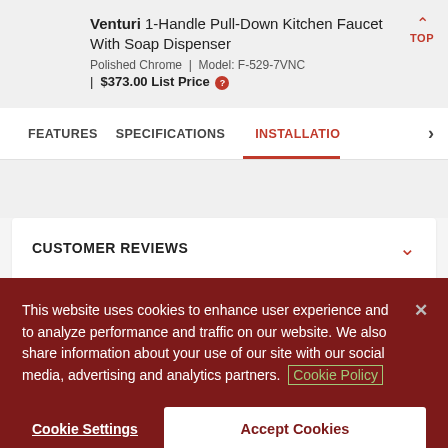[Figure (photo): Kitchen faucet product image - Venturi 1-Handle Pull-Down Kitchen Faucet, polished chrome finish]
Venturi 1-Handle Pull-Down Kitchen Faucet With Soap Dispenser
Polished Chrome | Model: F-529-7VNC | $373.00 List Price
FEATURES | SPECIFICATIONS | INSTALLATION
CUSTOMER REVIEWS
This website uses cookies to enhance user experience and to analyze performance and traffic on our website. We also share information about your use of our site with our social media, advertising and analytics partners. Cookie Policy
Cookie Settings
Accept Cookies